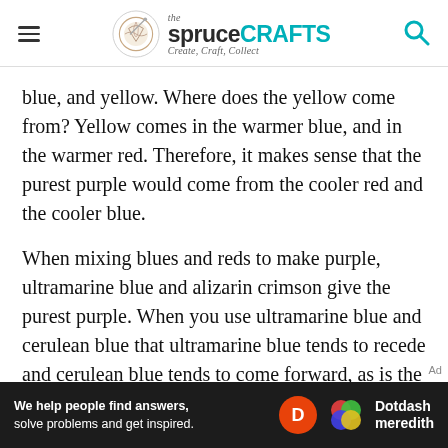the spruce CRAFTS — Create, Craft, Collect
blue, and yellow. Where does the yellow come from? Yellow comes in the warmer blue, and in the warmer red. Therefore, it makes sense that the purest purple would come from the cooler red and the cooler blue.
When mixing blues and reds to make purple, ultramarine blue and alizarin crimson give the purest purple. When you use ultramarine blue and cerulean blue that ultramarine blue tends to recede and cerulean blue tends to come forward, as is the general rule for cool and
[Figure (other): Dotdash Meredith advertisement banner: 'We help people find answers, solve problems and get inspired.' with Dotdash Meredith logo]